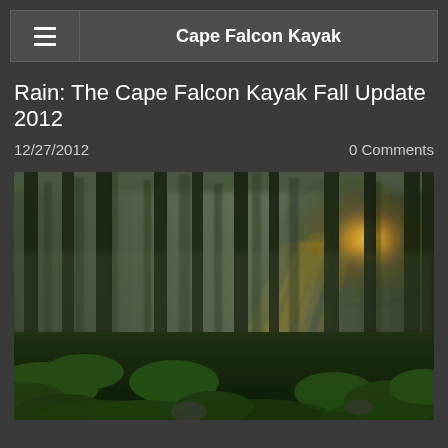Cape Falcon Kayak
Rain: The Cape Falcon Kayak Fall Update 2012
12/27/2012    0 Comments
[Figure (photo): A misty old-growth forest with tall conifer trees, rays of golden sunlight breaking through the fog from the right side, lush green ferns and undergrowth in the foreground]